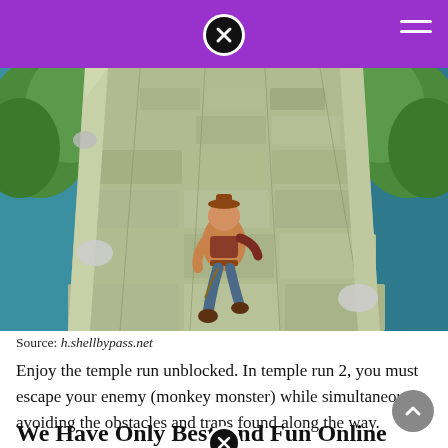[Figure (screenshot): Temple Run 2 gameplay screenshot showing a character running along a stone path through a jungle/ancient temple environment, viewed from behind.]
Source: h.shellbypass.net
Enjoy the temple run unblocked. In temple run 2, you must escape your enemy (monkey monster) while simultaneously avoiding the obstacles and traps found along the way.
We Have Only Best And Fun Online Games Like Temple Run 2...